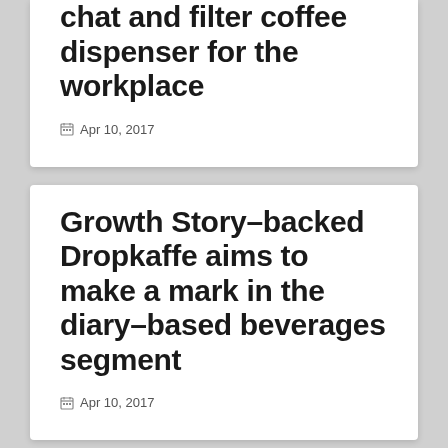chat and filter coffee dispenser for the workplace
Apr 10, 2017
Growth Story-backed Dropkaffe aims to make a mark in the diary-based beverages segment
Apr 10, 2017